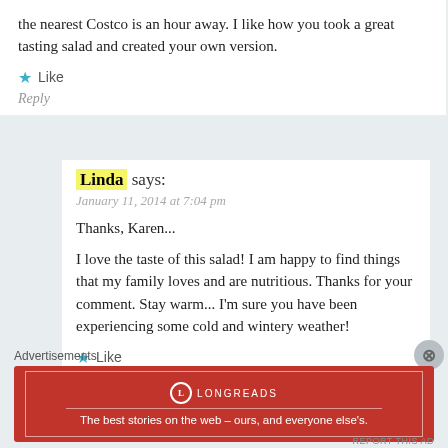the nearest Costco is an hour away. I like how you took a great tasting salad and created your own version.
★ Like
Reply
Linda says:
January 11, 2014 at 7:04 pm
Thanks, Karen...
I love the taste of this salad! I am happy to find things that my family loves and are nutritious. Thanks for your comment. Stay warm... I'm sure you have been experiencing some cold and wintery weather!
★ Like
Advertisements
[Figure (other): Longreads advertisement banner: red background with white border, Longreads logo and tagline 'The best stories on the web – ours, and everyone else's.']